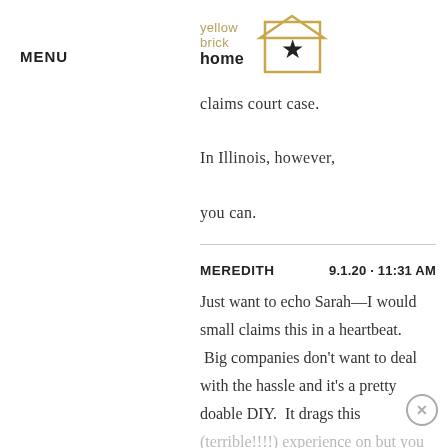MENU
[Figure (logo): Yellow Brick Home logo with house outline and star]
claims court case. In Illinois, however, you can.
MEREDITH   9.1.20 · 11:31 AM
Just want to echo Sarah––I would small claims this in a heartbeat.  Big companies don't want to deal with the hassle and it's a pretty doable DIY.  It drags this (terrible!!!!) experience on but you could recoup several thousands